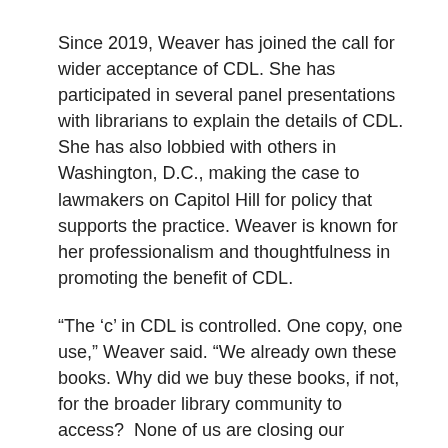Since 2019, Weaver has joined the call for wider acceptance of CDL. She has participated in several panel presentations with librarians to explain the details of CDL. She has also lobbied with others in Washington, D.C., making the case to lawmakers on Capitol Hill for policy that supports the practice. Weaver is known for her professionalism and thoughtfulness in promoting the benefit of CDL.
“The ‘c’ in CDL is controlled. One copy, one use,” Weaver said. “We already own these books. Why did we buy these books, if not, for the broader library community to access?  None of us are closing our libraries because we are running out of books, so doesn’t it make sense to share? Most people buy into that idea.”
Before joining HPL in 2018, Weaver was with the Toronto District School Board as manager of collections and extension services for 13 years. In that role, she coordinated operations with the